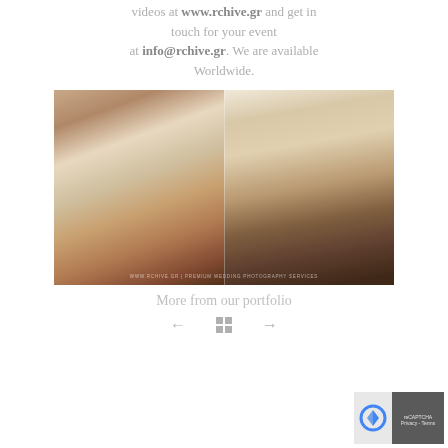videos at www.rchive.gr and get in touch for your event at info@rchive.gr. We are available Worldwide.
[Figure (photo): Two-panel wedding photo showing a bride's shoes being tied, with white dress fabric visible on a wooden floor. Watermark reads: WWW.RCHIVE.GR | PREMIUM WEDDING PHOTOGRAPHY SERVICES]
More from our portfolio
← ⊞ →